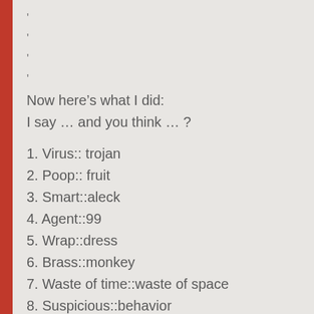'
'
'
'
Now here's what I did:
I say … and you think … ?
1. Virus:: trojan
2. Poop:: fruit
3. Smart::aleck
4. Agent::99
5. Wrap::dress
6. Brass::monkey
7. Waste of time::waste of space
8. Suspicious::behavior
9. 360::degrees
10. Pornographic...